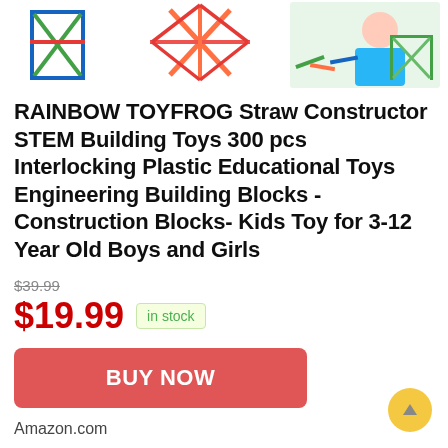[Figure (photo): Product images of RAINBOW TOYFROG Straw Constructor toy set showing colorful interlocking plastic straw building pieces and a child playing with the set]
RAINBOW TOYFROG Straw Constructor STEM Building Toys 300 pcs Interlocking Plastic Educational Toys Engineering Building Blocks -Construction Blocks- Kids Toy for 3-12 Year Old Boys and Girls
$39.99
$19.99 in stock
BUY NOW
Amazon.com